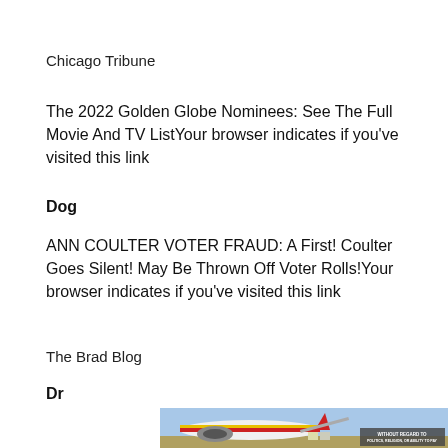Chicago Tribune
The 2022 Golden Globe Nominees: See The Full Movie And TV ListYour browser indicates if you've visited this link
Dog
ANN COULTER VOTER FRAUD: A First! Coulter Goes Silent! May Be Thrown Off Voter Rolls!Your browser indicates if you've visited this link
The Brad Blog
Dr
[Figure (photo): Photo of an airplane being loaded with cargo on a tarmac, with a badge overlay reading 'WITHOUT REGARD TO POLITICS, RELIGION, OR ABILITY TO PAY']